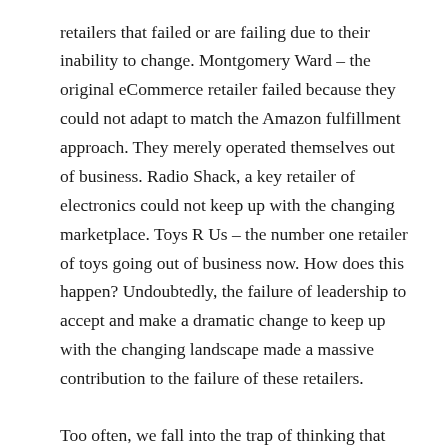retailers that failed or are failing due to their inability to change. Montgomery Ward – the original eCommerce retailer failed because they could not adapt to match the Amazon fulfillment approach. They merely operated themselves out of business. Radio Shack, a key retailer of electronics could not keep up with the changing marketplace. Toys R Us – the number one retailer of toys going out of business now. How does this happen? Undoubtedly, the failure of leadership to accept and make a dramatic change to keep up with the changing landscape made a massive contribution to the failure of these retailers.
Too often, we fall into the trap of thinking that our past successes will enable future ones. Events occur, and we overestimate the risks of attempting a new approach to driving business and underestimate the risk of standing still. For example, would we ever have thought that 9/11 would